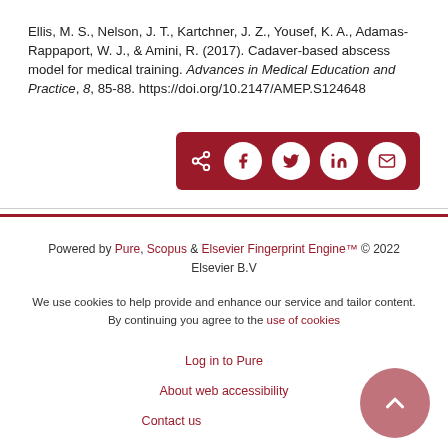Ellis, M. S., Nelson, J. T., Kartchner, J. Z., Yousef, K. A., Adamas-Rappaport, W. J., & Amini, R. (2017). Cadaver-based abscess model for medical training. Advances in Medical Education and Practice, 8, 85-88. https://doi.org/10.2147/AMEP.S124648
[Figure (other): Social share bar with dark red background containing share icon and circular buttons for Facebook, Twitter, LinkedIn, and Email]
Powered by Pure, Scopus & Elsevier Fingerprint Engine™ © 2022 Elsevier B.V
We use cookies to help provide and enhance our service and tailor content. By continuing you agree to the use of cookies
Log in to Pure
About web accessibility
Contact us